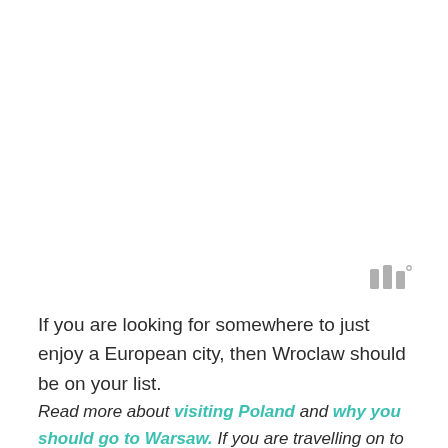[Figure (logo): Small gray stylized bar/column chart logo icon with a superscript degree symbol, positioned in the upper-right area]
If you are looking for somewhere to just enjoy a European city, then Wroclaw should be on your list.
Read more about visiting Poland and why you should go to Warsaw. If you are travelling on to